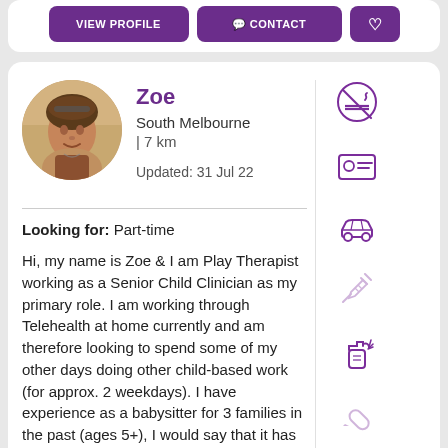[Figure (screenshot): Top strip showing partially visible purple action buttons: VIEW PROFILE, CONTACT, and a heart/save button]
[Figure (photo): Profile card for Zoe, a babysitter/caregiver from South Melbourne. Shows circular profile photo of a woman, name 'Zoe', location 'South Melbourne | 7 km', 'Updated: 31 Jul 22', and bio text. Right side has icons: no smoking, ID card, car, syringe (grayed), spray bottle, pen (grayed), first aid kit (grayed).]
Zoe
South Melbourne
| 7 km
Updated: 31 Jul 22
Looking for: Part-time
Hi, my name is Zoe & I am Play Therapist working as a Senior Child Clinician as my primary role. I am working through Telehealth at home currently and am therefore looking to spend some of my other days doing other child-based work (for approx. 2 weekdays). I have experience as a babysitter for 3 families in the past (ages 5+), I would say that it has been a few.